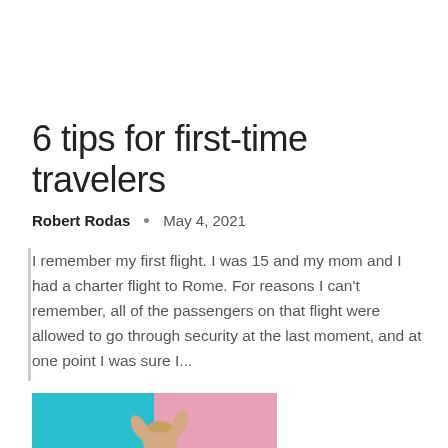6 tips for first-time travelers
Robert Rodas  •  May 4, 2021
I remember my first flight. I was 15 and my mom and I had a charter flight to Rome. For reasons I can't remember, all of the passengers on that flight were allowed to go through security at the last moment, and at one point I was sure I...
[Figure (photo): Baby in diaper seen from behind, reaching up, against a split blue and pink background]